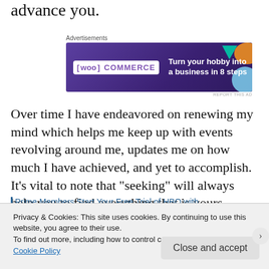advance you.
[Figure (screenshot): WooCommerce advertisement banner: purple background with WooCommerce logo and text 'Turn your hobby into a business in 8 steps']
Over time I have endeavored on renewing my mind which helps me keep up with events revolving around me, updates me on how much I have achieved, and yet to accomplish. It’s vital to note that “seeking” will always help you to find everything that is yours.
Prime Members Start Your Free Trial of HBO with
Privacy & Cookies: This site uses cookies. By continuing to use this website, you agree to their use.
To find out more, including how to control cookies, see here:
Cookie Policy
Close and accept